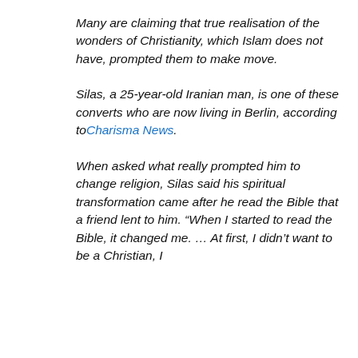Many are claiming that true realisation of the wonders of Christianity, which Islam does not have, prompted them to make move.
Silas, a 25-year-old Iranian man, is one of these converts who are now living in Berlin, according to Charisma News.
When asked what really prompted him to change religion, Silas said his spiritual transformation came after he read the Bible that a friend lent to him. “When I started to read the Bible, it changed me. … At first, I didn’t want to be a Christian, I